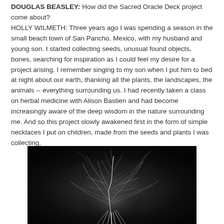DOUGLAS BEASLEY: How did the Sacred Oracle Deck project come about?
HOLLY WILMETH: Three years ago I was spending a season in the small beach town of San Pancho, Mexico, with my husband and young son. I started collecting seeds, unusual found objects, bones, searching for inspiration as I could feel my desire for a project arising. I remember singing to my son when I put him to bed at night about our earth, thanking all the plants, the landscapes, the animals -- everything surrounding us. I had recently taken a class on herbal medicine with Alison Bastien and had become increasingly aware of the deep wisdom in the nature surrounding me. And so this project slowly awakened first in the form of simple necklaces I put on children, made from the seeds and plants I was collecting.
[Figure (photo): Black and white photograph of a plant or organic root-like form with wispy tendrils and shoots, photographed against a very dark background.]